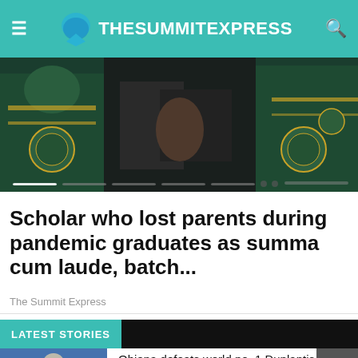TheSummitExpress
[Figure (photo): Graduation ceremony photo showing academic regalia with green and gold colors on dark background]
Scholar who lost parents during pandemic graduates as summa cum laude, batch...
The Summit Express
LATEST STORIES
[Figure (photo): Sports athlete photo - pole vaulter in yellow uniform]
Obiena defeats world no. 1 Duplantis to win Brussels Diamond League